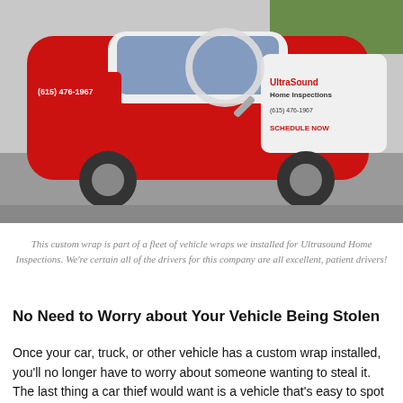[Figure (photo): A Kia Soul vehicle with a custom red and white vinyl wrap for Ultrasound Home Inspections, showing the company logo, phone number (615) 476-1967, website, and 'SCHEDULE NOW' text. The car is parked in a parking lot.]
This custom wrap is part of a fleet of vehicle wraps we installed for Ultrasound Home Inspections. We're certain all of the drivers for this company are all excellent, patient drivers!
No Need to Worry about Your Vehicle Being Stolen
Once your car, truck, or other vehicle has a custom wrap installed, you'll no longer have to worry about someone wanting to steal it. The last thing a car thief would want is a vehicle that's easy to spot in a crowd!